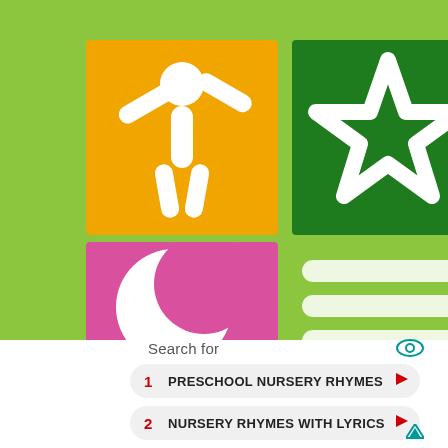[Figure (illustration): App icon grid on green background: orange tile with white stick figure person arms raised, dark green tile with white star outline, pink tile with white crescent moon, and a fourth quadrant with white horizontal bars (menu icon)]
Search for
1  PRESCHOOL NURSERY RHYMES
2  NURSERY RHYMES WITH LYRICS